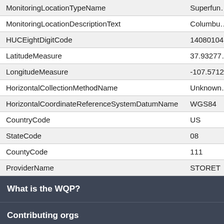| Field | Value |
| --- | --- |
| MonitoringLocationTypeName | Superfun… |
| MonitoringLocationDescriptionText | Columbu… |
| HUCEightDigitCode | 14080104… |
| LatitudeMeasure | 37.93277… |
| LongitudeMeasure | -107.5712… |
| HorizontalCollectionMethodName | Unknown… |
| HorizontalCoordinateReferenceSystemDatumName | WGS84 |
| CountryCode | US |
| StateCode | 08 |
| CountyCode | 111 |
| ProviderName | STORET |
What is the WQP?
Contributing orgs
Apps using the WQP
Other Water Quality Portals